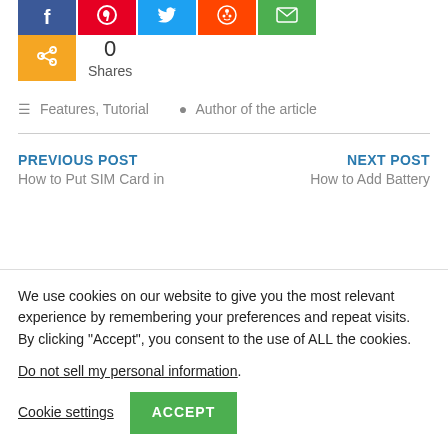[Figure (other): Social share buttons row: Facebook (blue), Pinterest (red), Twitter (blue), Reddit (orange), Email (green), and an orange share button. Shows 0 Shares.]
0 Shares
Features, Tutorial   Author of the article
PREVIOUS POST
How to Put SIM Card in
NEXT POST
How to Add Battery
We use cookies on our website to give you the most relevant experience by remembering your preferences and repeat visits. By clicking “Accept”, you consent to the use of ALL the cookies.
Do not sell my personal information.
Cookie settings   ACCEPT